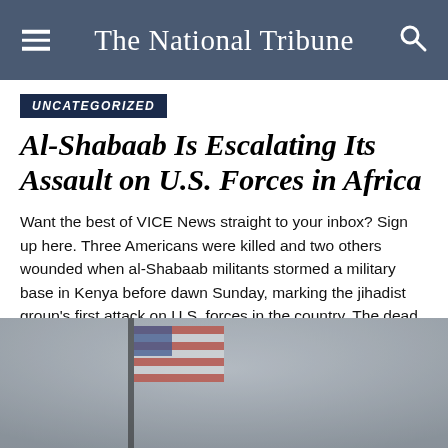The National Tribune
UNCATEGORIZED
Al-Shabaab Is Escalating Its Assault on U.S. Forces in Africa
Want the best of VICE News straight to your inbox? Sign up here. Three Americans were killed and two others wounded when al-Shabaab militants stormed a military base in Kenya before dawn Sunday, marking the jihadist group's first attack on U.S. forces in the country. The dead included a U.S. service member, named by his...
[Figure (photo): Blurred image of an American flag against a grey sky background]